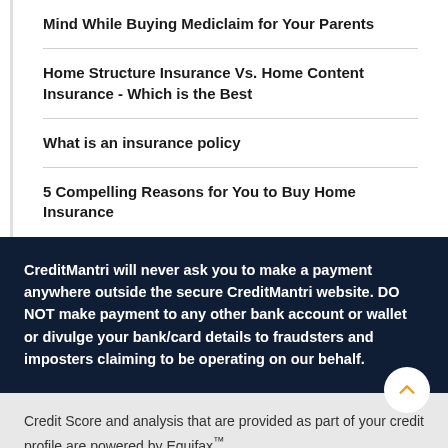Mind While Buying Mediclaim for Your Parents
Home Structure Insurance Vs. Home Content Insurance - Which is the Best
What is an insurance policy
5 Compelling Reasons for You to Buy Home Insurance
CreditMantri will never ask you to make a payment anywhere outside the secure CreditMantri website. DO NOT make payment to any other bank account or wallet or divulge your bank/card details to fraudsters and imposters claiming to be operating on our behalf.
Credit Score and analysis that are provided as part of your credit profile are powered by Equifax™